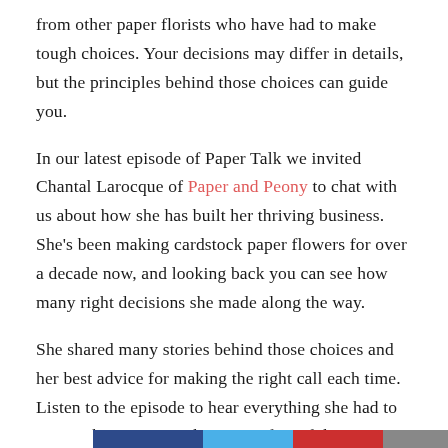from other paper florists who have had to make tough choices. Your decisions may differ in details, but the principles behind those choices can guide you.
In our latest episode of Paper Talk we invited Chantal Larocque of Paper and Peony to chat with us about how she has built her thriving business. She's been making cardstock paper flowers for over a decade now, and looking back you can see how many right decisions she made along the way.
She shared many stories behind those choices and her best advice for making the right call each time. Listen to the episode to hear everything she had to say. In the meantime, here are a few of the principles that can steer your business down a successful path.